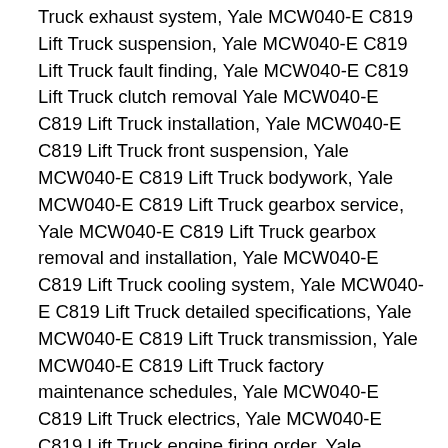Truck exhaust system, Yale MCW040-E C819 Lift Truck suspension, Yale MCW040-E C819 Lift Truck fault finding, Yale MCW040-E C819 Lift Truck clutch removal Yale MCW040-E C819 Lift Truck installation, Yale MCW040-E C819 Lift Truck front suspension, Yale MCW040-E C819 Lift Truck bodywork, Yale MCW040-E C819 Lift Truck gearbox service, Yale MCW040-E C819 Lift Truck gearbox removal and installation, Yale MCW040-E C819 Lift Truck cooling system, Yale MCW040-E C819 Lift Truck detailed specifications, Yale MCW040-E C819 Lift Truck transmission, Yale MCW040-E C819 Lift Truck factory maintenance schedules, Yale MCW040-E C819 Lift Truck electrics, Yale MCW040-E C819 Lift Truck engine firing order, Yale MCW040-E C819 Lift Truck brake servicing procedures, Yale MCW040-E C819 Lift Truck u-joint service procedures, Yale MCW040-E C819 Lift Truck cv joint service procedures, Yale MCW040-E C819 Lift Truck timing